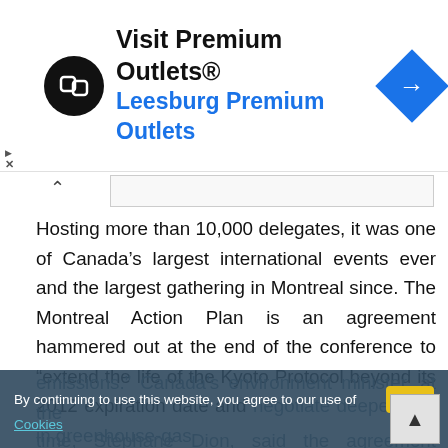[Figure (screenshot): Advertisement banner for Premium Outlets / Leesburg Premium Outlets with logo and navigation icon]
Hosting more than 10,000 delegates, it was one of Canada's largest international events ever and the largest gathering in Montreal since. The Montreal Action Plan is an agreement hammered out at the end of the conference to “extend the life of the Kyoto Protocol beyond its 2012 expiration date and negotiate deeper cuts in greenhouse-gas emissions.” Canada’s environment minister, at the time, Stéphane Dion, said the agreement provides a “map for the future.
See also COP 11 pages at the UNFCCC,